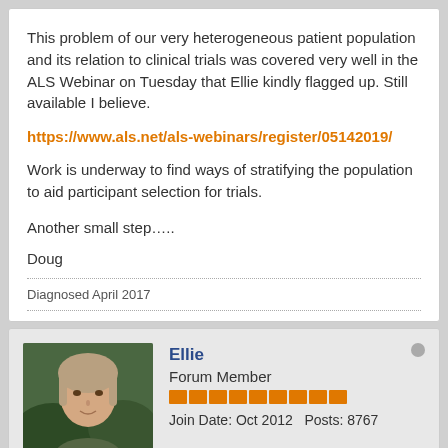This problem of our very heterogeneous patient population and its relation to clinical trials was covered very well in the ALS Webinar on Tuesday that Ellie kindly flagged up. Still available I believe.
https://www.als.net/als-webinars/register/05142019/
Work is underway to find ways of stratifying the population to aid participant selection for trials.
Another small step…..
Doug
Diagnosed April 2017
Ellie
Forum Member
Join Date: Oct 2012    Posts: 8767